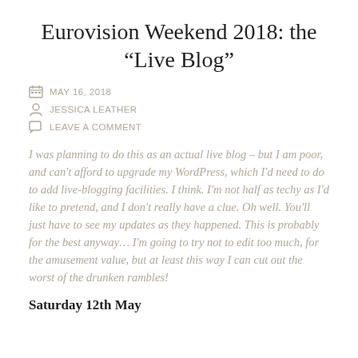Eurovision Weekend 2018: the “Live Blog”
MAY 16, 2018
JESSICA LEATHER
LEAVE A COMMENT
I was planning to do this as an actual live blog – but I am poor, and can’t afford to upgrade my WordPress, which I’d need to do to add live-blogging facilities. I think. I’m not half as techy as I’d like to pretend, and I don’t really have a clue. Oh well. You’ll just have to see my updates as they happened. This is probably for the best anyway… I’m going to try not to edit too much, for the amusement value, but at least this way I can cut out the worst of the drunken rambles!
Saturday 12th May